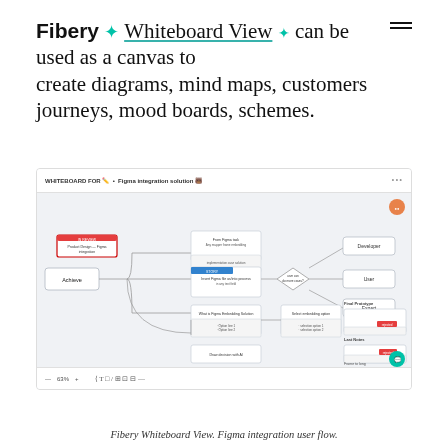Whiteboard View ✦ can be used as a canvas to create diagrams, mind maps, customers journeys, mood boards, schemes.
[Figure (screenshot): Fibery Whiteboard View showing a Figma integration solution flowchart/user flow diagram with connected boxes, decision diamonds, and labeled nodes on a light canvas. Bottom toolbar with zoom controls and editing tools visible.]
Fibery Whiteboard View. Figma integration user flow.